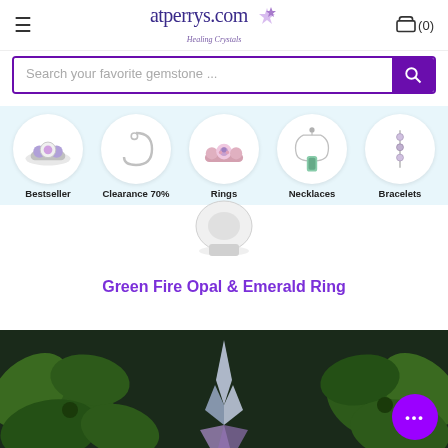atperrys.com Healing Crystals | Cart (0)
Search your favorite gemstone ...
[Figure (screenshot): Category navigation strip with circular product images for Bestseller, Clearance 70%, Rings, Necklaces, Bracelets on a light blue background]
Green Fire Opal & Emerald Ring
[Figure (photo): Product photo of crystals and succulents on dark background, partially visible at bottom of page]